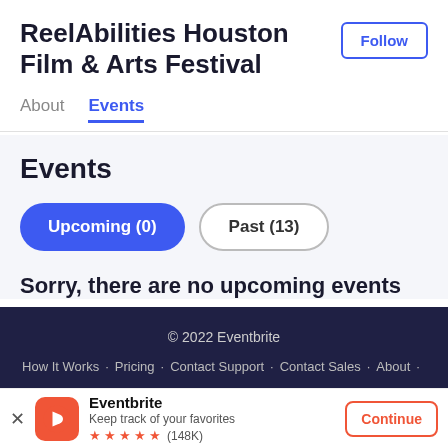ReelAbilities Houston Film & Arts Festival
Follow
About   Events
Events
Upcoming (0)   Past (13)
Sorry, there are no upcoming events
© 2022 Eventbrite
How It Works · Pricing · Contact Support · Contact Sales · About ·
Eventbrite
Keep track of your favorites
★★★★★ (148K)
Continue